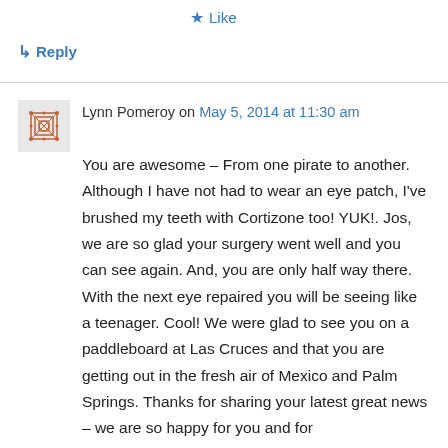★ Like
↳ Reply
Lynn Pomeroy on May 5, 2014 at 11:30 am
You are awesome – From one pirate to another. Although I have not had to wear an eye patch, I've brushed my teeth with Cortizone too! YUK!. Jos, we are so glad your surgery went well and you can see again. And, you are only half way there. With the next eye repaired you will be seeing like a teenager. Cool! We were glad to see you on a paddleboard at Las Cruces and that you are getting out in the fresh air of Mexico and Palm Springs. Thanks for sharing your latest great news – we are so happy for you and for